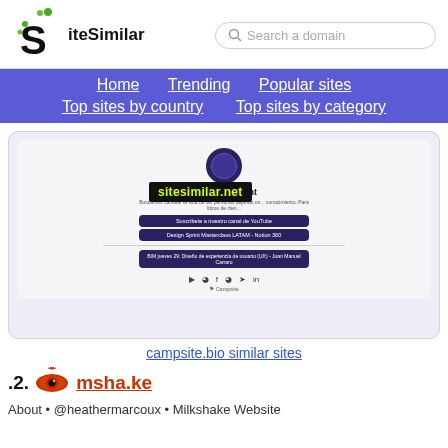[Figure (logo): SiteSimilar logo with stylized S and green dots]
[Figure (screenshot): Screenshot of Book Movement campsite.bio page with sitesimilar.net watermark]
campsite.bio similar sites
2. msha.ke
About • @heathermarcoux • Milkshake Website